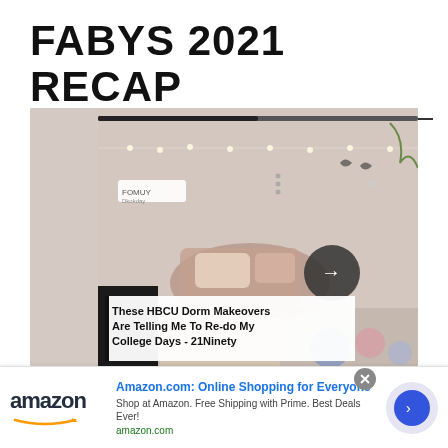FABYS 2021 RECAP
[Figure (screenshot): Screenshot of a webpage showing a bedroom/dorm room photo with overlay text 'These HBCU Dorm Makeovers Are Telling Me To Re-do My College Days - 21Ninety'. The image shows a cozy dorm room with string lights, pillows, and a navigation arrow button. A small logo/watermark is visible.]
[Figure (screenshot): Amazon advertisement banner showing the Amazon logo with smile, text 'Amazon.com: Online Shopping for Everyone', subtitle 'Shop at Amazon. Free Shipping with Prime. Best Deals Ever!', amazon.com URL, and a blue arrow button in a circle.]